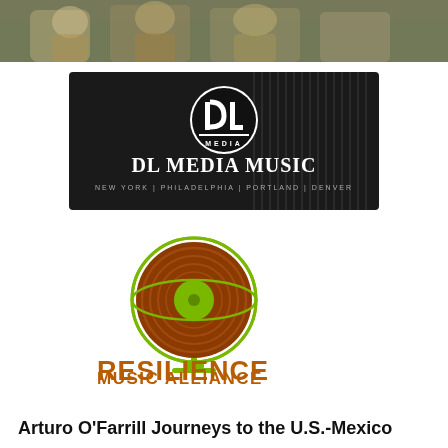[Figure (photo): Top banner photo showing musicians or performers in a crowd scene, partially visible at top of page]
[Figure (logo): DL Media Music logo: dark background with white circular DL Media logo mark, text 'DL MEDIA MUSIC' and 'NEW YORK | PHILADELPHIA | PORTLAND | DENVER']
[Figure (logo): Resilience Music Alliance logo: brown vinyl record styled as a globe on a green stand, with text 'RESILIENCE MUSIC ALLIANCE' in orange-brown below]
Arturo O'Farrill Journeys to the U.S.-Mexico